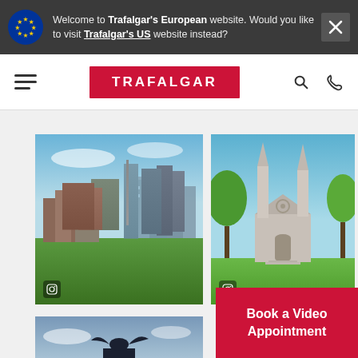Welcome to Trafalgar's European website. Would you like to visit Trafalgar's US website instead?
[Figure (screenshot): Trafalgar travel website navigation bar with hamburger menu, red TRAFALGAR logo badge, search icon, and phone icon]
[Figure (photo): City skyline aerial view (Toronto) with skyscrapers and green trees]
[Figure (photo): Gothic church with twin spires and green lawn]
[Figure (photo): Dark silhouette scene with statue against sky]
Book a Video Appointment